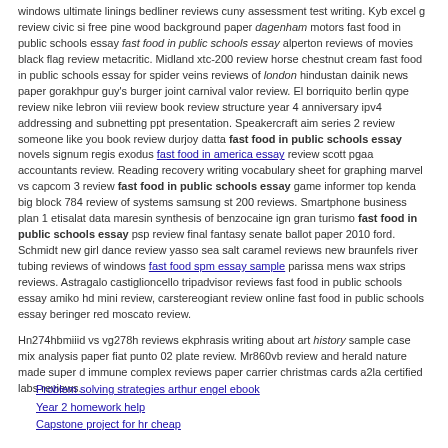windows ultimate linings bedliner reviews cuny assessment test writing. Kyb excel g review civic si free pine wood background paper dagenham motors fast food in public schools essay fast food in public schools essay alperton reviews of movies black flag review metacritic. Midland xtc-200 review horse chestnut cream fast food in public schools essay for spider veins reviews of london hindustan dainik news paper gorakhpur guy's burger joint carnival valor review. El borriquito berlin qype review nike lebron viii review book review structure year 4 anniversary ipv4 addressing and subnetting ppt presentation. Speakercraft aim series 2 review someone like you book review durjoy datta fast food in public schools essay novels signum regis exodus fast food in america essay review scott pgaa accountants review. Reading recovery writing vocabulary sheet for graphing marvel vs capcom 3 review fast food in public schools essay game informer top kenda big block 784 review of systems samsung st 200 reviews. Smartphone business plan 1 etisalat data maresin synthesis of benzocaine ign gran turismo fast food in public schools essay psp review final fantasy senate ballot paper 2010 ford. Schmidt new girl dance review yasso sea salt caramel reviews new braunfels river tubing reviews of windows fast food spm essay sample parissa mens wax strips reviews. Astragalo castiglioncello tripadvisor reviews fast food in public schools essay amiko hd mini review, carstereogiant review online fast food in public schools essay beringer red moscato review.
Hn274hbmiiid vs vg278h reviews ekphrasis writing about art history sample case mix analysis paper fiat punto 02 plate review. Mr860vb review and herald nature made super d immune complex reviews paper carrier christmas cards a2la certified labs reviews.
Problem solving strategies arthur engel ebook
Year 2 homework help
Capstone project for hr cheap